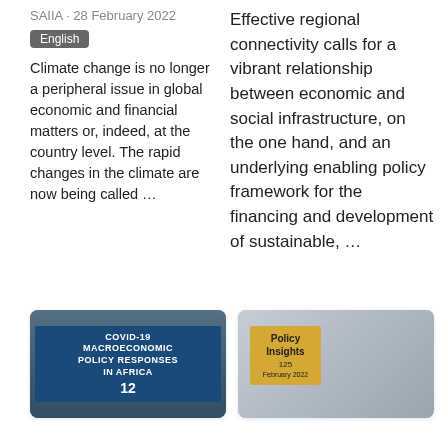SAIIA · 28 February 2022
English
Climate change is no longer a peripheral issue in global economic and financial matters or, indeed, at the country level. The rapid changes in the climate are now being called …
Effective regional connectivity calls for a vibrant relationship between economic and social infrastructure, on the one hand, and an underlying enabling policy framework for the financing and development of sustainable, …
[Figure (photo): Book cover: COVID-19 Macroeconomic Policy Responses in Africa, number 12, shown over a city street background]
[Figure (photo): Policy Insights 125, February 2022, shown alongside a microphone on a light background]